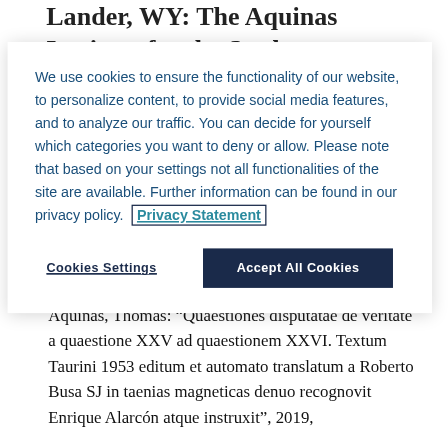Lander, WY: The Aquinas Institute for the Study
We use cookies to ensure the functionality of our website, to personalize content, to provide social media features, and to analyze our traffic. You can decide for yourself which categories you want to deny or allow. Please note that based on your settings not all functionalities of the site are available. Further information can be found in our privacy policy. Privacy Statement
Cookies Settings
Accept All Cookies
Export Citation
Aquinas, Thomas: “Quaestiones disputatae de veritate a quaestione XXV ad quaestionem XXVI. Textum Taurini 1953 editum et automato translatum a Roberto Busa SJ in taenias magneticas denuo recognovit Enrique Alarcón atque instruxit”, 2019,